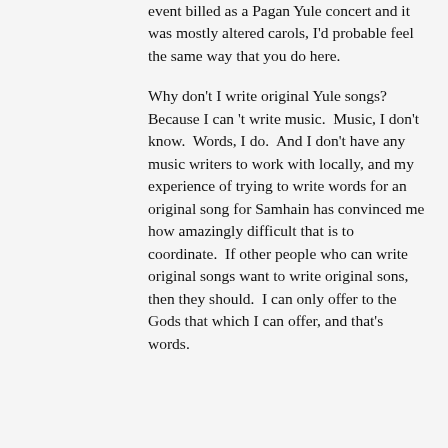event billed as a Pagan Yule concert and it was mostly altered carols, I'd probable feel the same way that you do here.
Why don't I write original Yule songs?  Because I can 't write music.  Music, I don't know.  Words, I do.  And I don't have any music writers to work with locally, and my experience of trying to write words for an original song for Samhain has convinced me how amazingly difficult that is to coordinate.  If other people who can write original songs want to write original sons, then they should.  I can only offer to the Gods that which I can offer, and that's words.